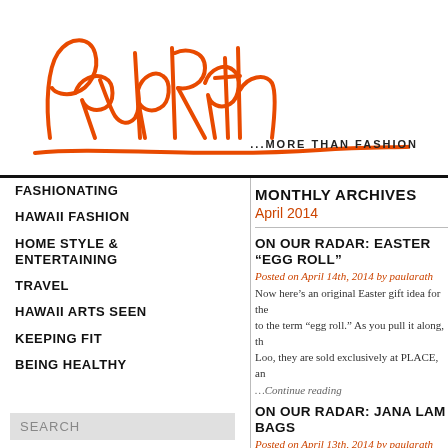[Figure (logo): Paula Rath cursive signature logo in orange color]
...MORE THAN FASHION
FASHIONATING
HAWAII FASHION
HOME STYLE & ENTERTAINING
TRAVEL
HAWAII ARTS SEEN
KEEPING FIT
BEING HEALTHY
MONTHLY ARCHIVES
April 2014
ON OUR RADAR: EASTER “EGG ROLL”
Posted on April 14th, 2014 by paularath
Now here’s an original Easter gift idea for the... to the term “egg roll.” As you pull it along, th... Loo, they are sold exclusively at PLACE, an
…Continue reading
ON OUR RADAR: JANA LAM BAGS
Posted on April 13th, 2014 by paularath